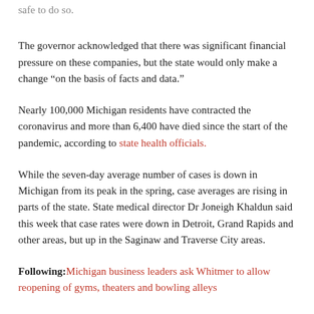safe to do so.
The governor acknowledged that there was significant financial pressure on these companies, but the state would only make a change “on the basis of facts and data.”
Nearly 100,000 Michigan residents have contracted the coronavirus and more than 6,400 have died since the start of the pandemic, according to state health officials.
While the seven-day average number of cases is down in Michigan from its peak in the spring, case averages are rising in parts of the state. State medical director Dr Joneigh Khaldun said this week that case rates were down in Detroit, Grand Rapids and other areas, but up in the Saginaw and Traverse City areas.
Following: Michigan business leaders ask Whitmer to allow reopening of gyms, theaters and bowling alleys